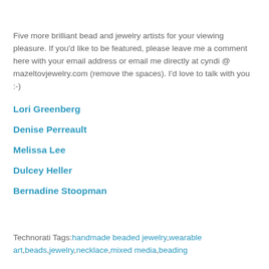Five more brilliant bead and jewelry artists for your viewing pleasure. If you'd like to be featured, please leave me a comment here with your email address or email me directly at cyndi @ mazeltovjewelry.com (remove the spaces). I'd love to talk with you :-)
Lori Greenberg
Denise Perreault
Melissa Lee
Dulcey Heller
Bernadine Stoopman
Technorati Tags: handmade beaded jewelry,wearable art,beads,jewelry,necklace,mixed media,beading